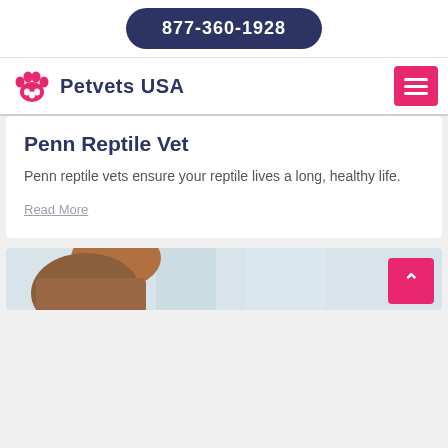877-360-1928
[Figure (logo): Petvets USA logo with pink paw print icon and dark blue text 'Petvets USA', plus pink hamburger menu button on the right]
Penn Reptile Vet
Penn reptile vets ensure your reptile lives a long, healthy life.
Read More
[Figure (photo): Partially visible photo showing a person with reddish/brown hair, likely in a veterinary setting with light blue/grey background]